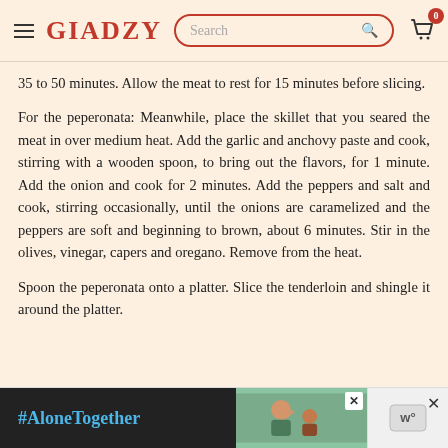GIADZY — Search bar and cart
35 to 50 minutes. Allow the meat to rest for 15 minutes before slicing.
For the peperonata: Meanwhile, place the skillet that you seared the meat in over medium heat. Add the garlic and anchovy paste and cook, stirring with a wooden spoon, to bring out the flavors, for 1 minute. Add the onion and cook for 2 minutes. Add the peppers and salt and cook, stirring occasionally, until the onions are caramelized and the peppers are soft and beginning to brown, about 6 minutes. Stir in the olives, vinegar, capers and oregano. Remove from the heat.
Spoon the peperonata onto a platter. Slice the tenderloin and shingle it around the platter.
[Figure (screenshot): Ad banner with #AloneTogether text on dark background and photo of man and child waving]